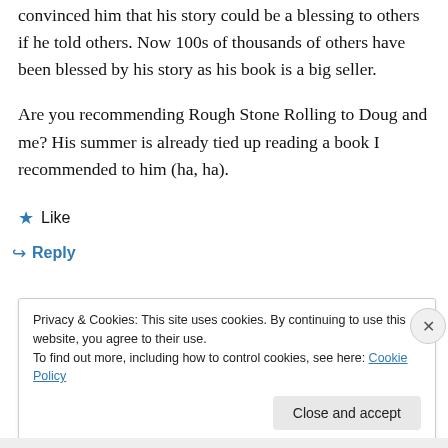convinced him that his story could be a blessing to others if he told others. Now 100s of thousands of others have been blessed by his story as his book is a big seller.
Are you recommending Rough Stone Rolling to Doug and me? His summer is already tied up reading a book I recommended to him (ha, ha).
★ Like
↪ Reply
Privacy & Cookies: This site uses cookies. By continuing to use this website, you agree to their use.
To find out more, including how to control cookies, see here: Cookie Policy
Close and accept